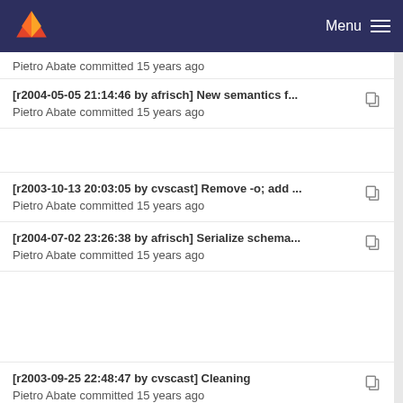Menu
Pietro Abate committed 15 years ago
[r2004-05-05 21:14:46 by afrisch] New semantics f... Pietro Abate committed 15 years ago
[r2003-10-13 20:03:05 by cvscast] Remove -o; add ... Pietro Abate committed 15 years ago
[r2004-07-02 23:26:38 by afrisch] Serialize schema... Pietro Abate committed 15 years ago
[r2003-09-25 22:48:47 by cvscast] Cleaning Pietro Abate committed 15 years ago